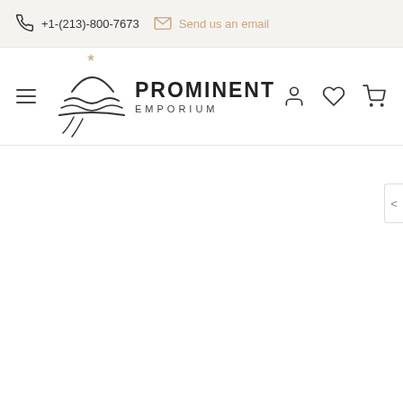+1-(213)-800-7673  Send us an email
[Figure (logo): Prominent Emporium logo with stylized hat/dome illustration and navigation icons (hamburger menu, user, heart, cart)]